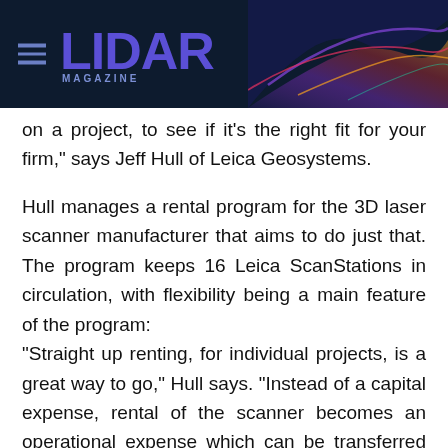LIDAR MAGAZINE
on a project, to see if it's the right fit for your firm," says Jeff Hull of Leica Geosystems.
Hull manages a rental program for the 3D laser scanner manufacturer that aims to do just that. The program keeps 16 Leica ScanStations in circulation, with flexibility being a main feature of the program: "Straight up renting, for individual projects, is a great way to go," Hull says. "Instead of a capital expense, rental of the scanner becomes an operational expense which can be transferred to the project, rather than absorbed." Alternatively, companies can rent with the